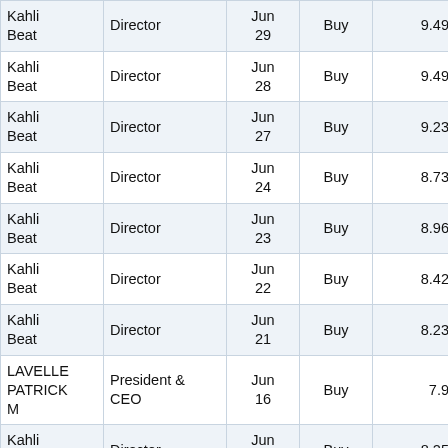| Name | Title | Date | Type | Price | Shares |
| --- | --- | --- | --- | --- | --- |
| Kahli Beat | Director | Jun 29 | Buy | 9.49 | 5,000 |
| Kahli Beat | Director | Jun 28 | Buy | 9.49 | 5,000 |
| Kahli Beat | Director | Jun 27 | Buy | 9.23 | 5,000 |
| Kahli Beat | Director | Jun 24 | Buy | 8.73 | 5,000 |
| Kahli Beat | Director | Jun 23 | Buy | 8.96 | 5,000 |
| Kahli Beat | Director | Jun 22 | Buy | 8.42 | 5,000 |
| Kahli Beat | Director | Jun 21 | Buy | 8.23 | 5,000 |
| LAVELLE PATRICK M | President & CEO | Jun 16 | Buy | 7.9 | 3,000 |
| Kahli Beat | Director | Jun 17 | Buy | 8.25 | 5,000 |